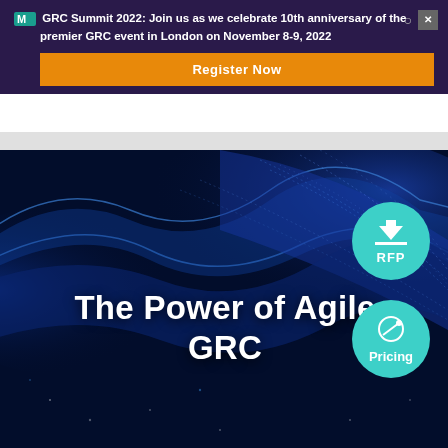GRC Summit 2022: Join us as we celebrate 10th anniversary of the premier GRC event in London on November 8-9, 2022
Register Now
[Figure (illustration): Dark blue hero image with glowing blue wave/ribbon pattern on dark navy background]
The Power of Agile GRC
[Figure (infographic): Teal circular button with download arrow icon, horizontal line, and RFP text]
[Figure (infographic): Teal circular button with price tag icon and Pricing text]